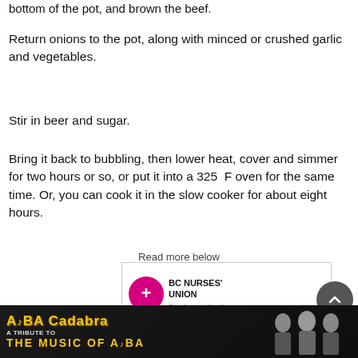bottom of the pot, and brown the beef.
Return onions to the pot, along with minced or crushed garlic and vegetables.
Stir in beer and sugar.
Bring it back to bubbling, then lower heat, cover and simmer for two hours or so, or put it into a 325 F oven for the same time. Or, you can cook it in the slow cooker for about eight hours.
Read more below
[Figure (logo): BC Nurses Union logo with circular icon and text]
[Figure (photo): ABBA Cadabra - A Tribute to the Music of ABBA advertisement banner with performers]